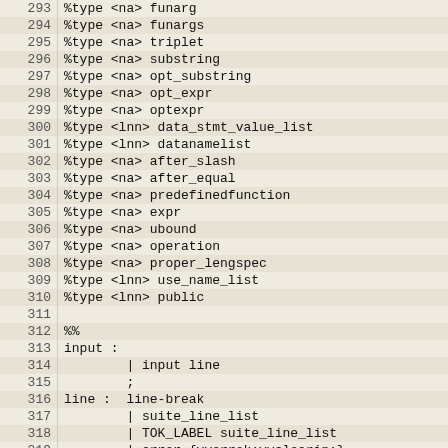| line | code |
| --- | --- |
| 293 | %type <na> funarg |
| 294 | %type <na> funargs |
| 295 | %type <na> triplet |
| 296 | %type <na> substring |
| 297 | %type <na> opt_substring |
| 298 | %type <na> opt_expr |
| 299 | %type <na> optexpr |
| 300 | %type <lnn> data_stmt_value_list |
| 301 | %type <lnn> datanamelist |
| 302 | %type <na> after_slash |
| 303 | %type <na> after_equal |
| 304 | %type <na> predefinedfunction |
| 305 | %type <na> expr |
| 306 | %type <na> ubound |
| 307 | %type <na> operation |
| 308 | %type <na> proper_lengspec |
| 309 | %type <lnn> use_name_list |
| 310 | %type <lnn> public |
| 311 |  |
| 312 | %% |
| 313 | input : |
| 314 |         | input line |
| 315 |         ; |
| 316 | line :  line-break |
| 317 |         | suite_line_list |
| 318 |         | TOK_LABEL suite_line_list |
| 319 |         | error {yyerrok;yyclearin;} |
| 320 |         ; |
| 321 | line-break: |
| 322 |         '\n' fin_line |
| 323 |         | TOK_SEMICOLON |
| 324 |         | line-break '\n' fin_line |
| 325 |         | line-break TOK_SEMICOLON |